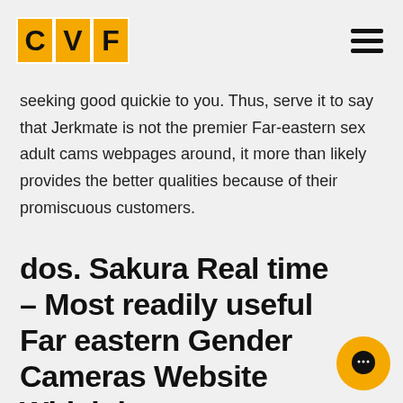CVF
seeking good quickie to you. Thus, serve it to say that Jerkmate is not the premier Far-eastern sex adult cams webpages around, it more than likely provides the better qualities because of their promiscuous customers.
dos. Sakura Real time – Most readily useful Far eastern Gender Cameras Website Which have Reasonable Reveals